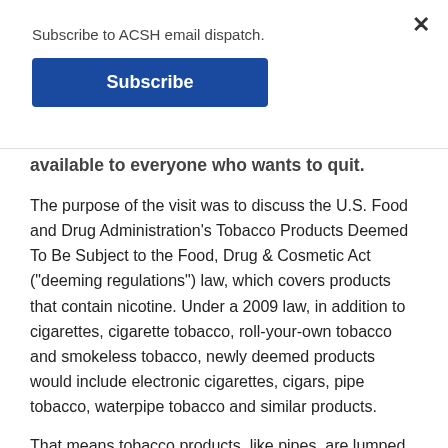Subscribe to ACSH email dispatch.
Subscribe
available to everyone who wants to quit.
The purpose of the visit was to discuss the U.S. Food and Drug Administration's Tobacco Products Deemed To Be Subject to the Food, Drug & Cosmetic Act ("deeming regulations") law, which covers products that contain nicotine. Under a 2009 law, in addition to cigarettes, cigarette tobacco, roll-your-own tobacco and smokeless tobacco, newly deemed products would include electronic cigarettes, cigars, pipe tobacco, waterpipe tobacco and similar products.
That means tobacco products, like pipes, are lumped in with nicotine products like e-cigarettes, which are instead marketed as cigarette harm-reduction. It is the first time they have been regulated and proponents